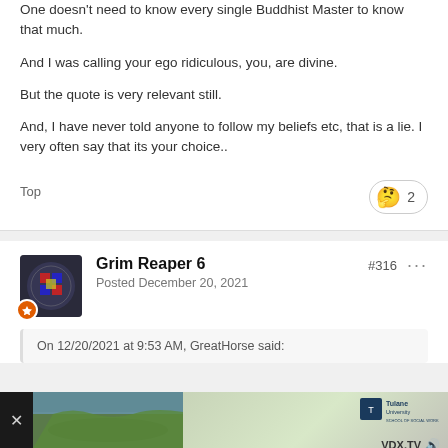One doesn't need to know every single Buddhist Master to know that much.
And I was calling your ego ridiculous, you, are divine.
But the quote is very relevant still.
And, I have never told anyone to follow my beliefs etc, that is a lie. I very often say that its your choice..
Top
2
Grim Reaper 6
Posted December 20, 2021
#316
On 12/20/2021 at 9:53 AM, GreatHorse said:
[Figure (screenshot): Advertisement bar at bottom showing a landscape photo and Tulane University School of Social Work logo with VDX.TV branding]